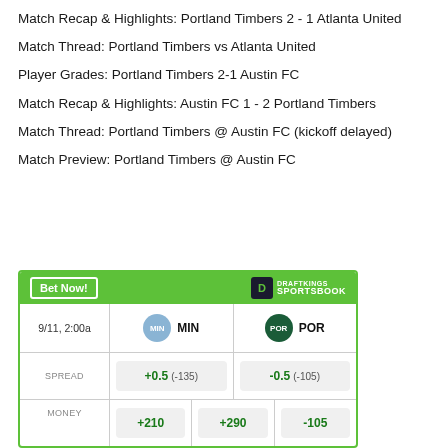Match Recap & Highlights: Portland Timbers 2 - 1 Atlanta United
Match Thread: Portland Timbers vs Atlanta United
Player Grades: Portland Timbers 2-1 Austin FC
Match Recap & Highlights: Austin FC 1 - 2 Portland Timbers
Match Thread: Portland Timbers @ Austin FC (kickoff delayed)
Match Preview: Portland Timbers @ Austin FC
|  | MIN | POR |
| --- | --- | --- |
| 9/11, 2:00a | MIN | POR |
| SPREAD | +0.5  (-135) | -0.5  (-105) |
| MONEY | +210 | +290  -105 |